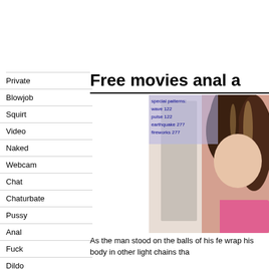Free movies anal a
Private
Blowjob
Squirt
Video
Naked
Webcam
Chat
Chaturbate
Pussy
Anal
Fuck
Dildo
Ass
Tits
[Figure (photo): Woman with wavy highlighted hair, pink top, with a semi-transparent blue overlay showing text: special patterns: wave 122, pulse 122, earthquake 277, fireworks 277]
As the man stood on the balls of his fe wrap his body in other light chains tha